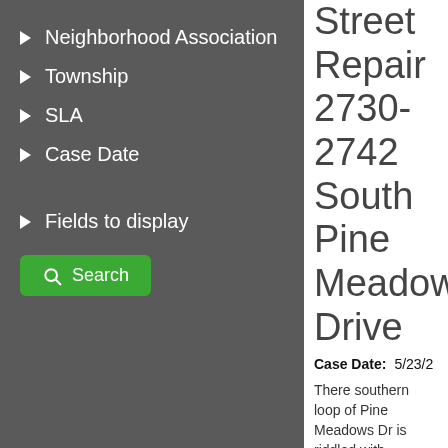Neighborhood Association
Township
SLA
Case Date
Fields to display
Search
Street Repair 2730-2742 South Pine Meadows Drive
Case Date: 5/23/2
There southern loop of Pine Meadows Dr is riddled with potholes. Crews attempted to fix them one